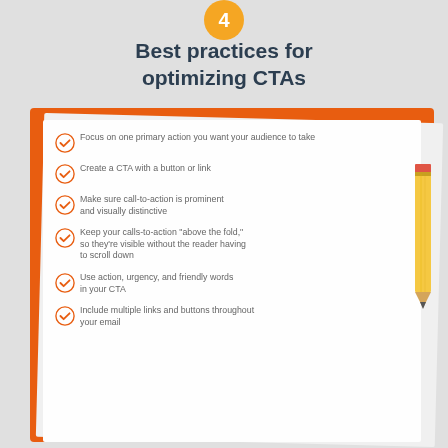4 Best practices for optimizing CTAs
[Figure (infographic): Orange clipboard with white paper checklist and pencil illustration showing best practices for optimizing CTAs]
Focus on one primary action you want your audience to take
Create a CTA with a button or link
Make sure call-to-action is prominent and visually distinctive
Keep your calls-to-action 'above the fold,' so they're visible without the reader having to scroll down
Use action, urgency, and friendly words in your CTA
Include multiple links and buttons throughout your email